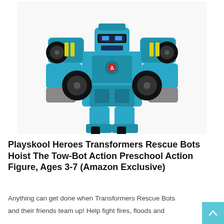[Figure (photo): A blue and black Transformers Rescue Bots Hoist The Tow-Bot robot action figure toy on a white background, shown in robot form with wheels on its arms and shoulders.]
Playskool Heroes Transformers Rescue Bots Hoist The Tow-Bot Action Preschool Action Figure, Ages 3-7 (Amazon Exclusive)
Anything can get done when Transformers Rescue Bots and their friends team up! Help fight fires, floods and